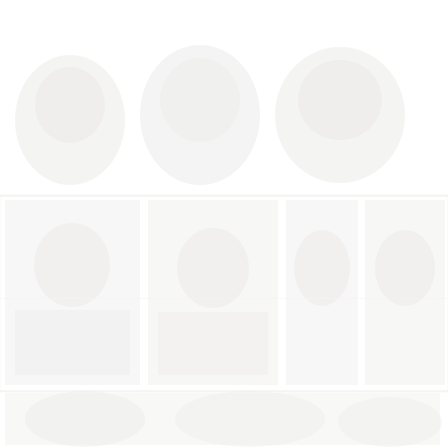[Figure (photo): A very faint, nearly white image showing what appears to be multiple rows of photographs or images arranged in a grid pattern. The content is extremely washed out and barely visible against the white background, showing very light gray tones. The image appears to show some kind of collage or contact sheet of photographs arranged in three horizontal bands across the page.]